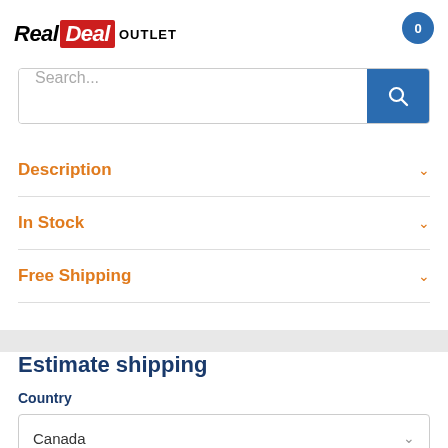[Figure (logo): RealDeal OUTLET logo with red background on 'Deal' text]
0
Search...
Description
In Stock
Free Shipping
Estimate shipping
Country
Canada